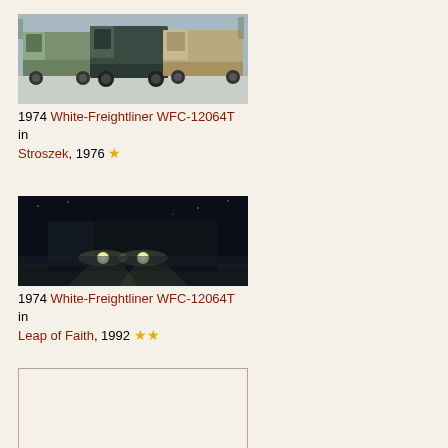[Figure (photo): Daytime photo of three large semi trucks (White-Freightliner WFC-12064T) parked side by side in a snowy outdoor setting]
1974 White-Freightliner WFC-12064T in Stroszek, 1976 ★
[Figure (photo): Nighttime photo of a large semi truck (White-Freightliner WFC-12064T) with headlights on, driving in darkness]
1974 White-Freightliner WFC-12064T in Leap of Faith, 1992 ★★
[Figure (photo): Missing/blank image placeholder with border for White-Freightliner WFL in Rabid]
1976 White-Freightliner WFL in Rabid, 1977 ★★